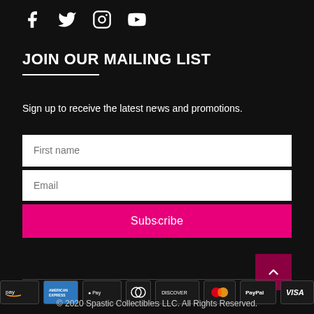[Figure (other): Social media icons: Facebook, Twitter, Instagram, YouTube]
JOIN OUR MAILING LIST
Sign up to receive the latest news and promotions.
First name (input field)
Email (input field)
Subscribe (button)
[Figure (other): Payment method icons: Amazon Pay, American Express, Apple Pay, Diners Club, Discover, Mastercard, PayPal, Visa]
© 2020 Spastic Collectibles LLC. All Rights Reserved.